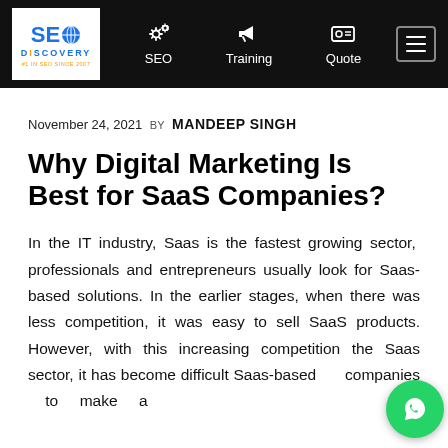SEO Discovery | SEO | Training | Quote
November 24, 2021 BY MANDEEP SINGH
Why Digital Marketing Is Best for SaaS Companies?
In the IT industry, Saas is the fastest growing sector, professionals and entrepreneurs usually look for Saas-based solutions. In the earlier stages, when there was less competition, it was easy to sell SaaS products. However, with this increasing competition the Saas sector, it has become difficult Saas-based companies to make a